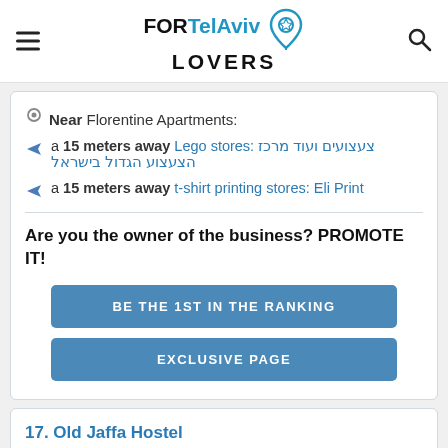FOR Tel Aviv LOVERS
Near Florentine Apartments:
a 15 meters away Lego stores: צעצועים ועוד מרכז הצעצוע הגדול בישראל
a 15 meters away t-shirt printing stores: Eli Print
Are you the owner of the business? PROMOTE IT!
BE THE 1ST IN THE RANKING
EXCLUSIVE PAGE
17. Old Jaffa Hostel